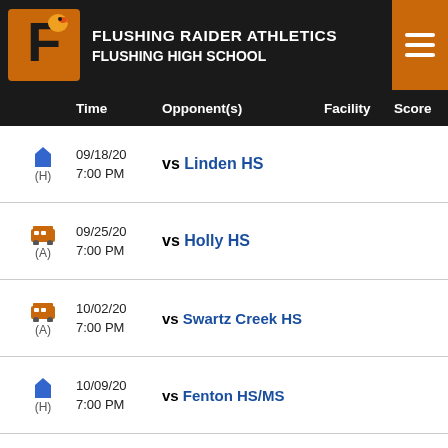FLUSHING RAIDER ATHLETICS FLUSHING HIGH SCHOOL
|  | Time | Opponent(s) | Facility | Score |
| --- | --- | --- | --- | --- |
| (H) 09/18/20 7:00 PM | vs Linden HS |  |  |
| (A) 09/25/20 7:00 PM | vs Holly HS |  |  |
| (A) 10/02/20 7:00 PM | vs Swartz Creek HS |  |  |
| (H) 10/09/20 7:00 PM | vs Fenton HS/MS |  |  |
| (A) 10/16/20 7:00 PM | vs Kearsley HS |  |  |
| (H) 10/23/20 | vs Owosso HS |  |  |